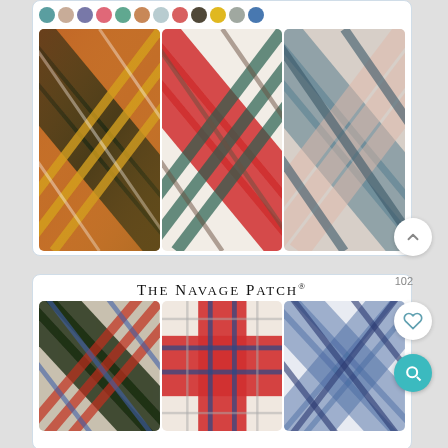[Figure (screenshot): Top product card showing color swatches and three plaid fabric thumbnails (warm multi-color plaid, red-white-teal plaid, muted teal-peach plaid)]
[Figure (screenshot): Bottom product card for 'The Navage Patch' brand showing three plaid fabric thumbnails (dark multi plaid, red-blue stripe plaid, blue-white check plaid) with 102 reviews, heart and search action buttons]